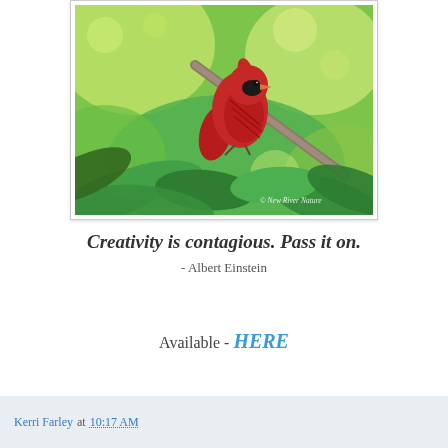[Figure (photo): A red cardinal bird perched on a branch surrounded by green and yellow-green leaves and foliage. Watermark reads '© New River Nature'.]
Creativity is contagious. Pass it on.
- Albert Einstein
Available - HERE
Kerri Farley at 10:17 AM